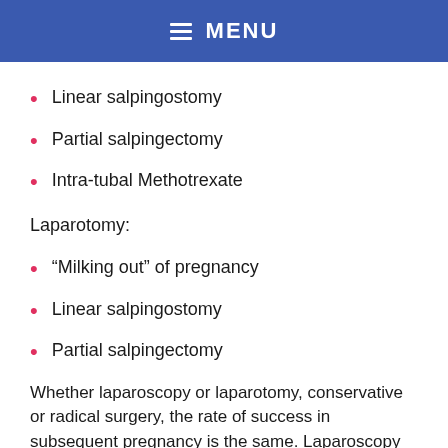MENU
Linear salpingostomy
Partial salpingectomy
Intra-tubal Methotrexate
Laparotomy:
“Milking out” of pregnancy
Linear salpingostomy
Partial salpingectomy
Whether laparoscopy or laparotomy, conservative or radical surgery, the rate of success in subsequent pregnancy is the same. Laparoscopy results in a